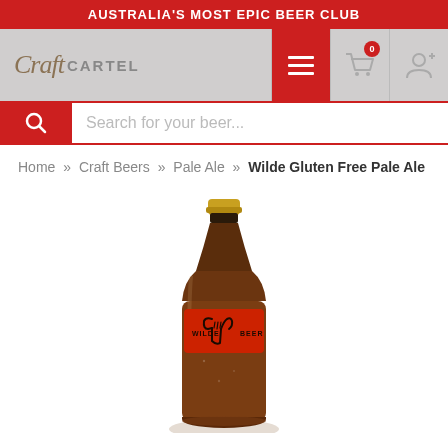AUSTRALIA'S MOST EPIC BEER CLUB
[Figure (logo): Craft Cartel logo with script 'Craft' and bold 'CARTEL' text, navigation icons including hamburger menu (red), shopping cart with badge '0', and user account icon]
Search for your beer...
Home » Craft Beers » Pale Ale » Wilde Gluten Free Pale Ale
[Figure (photo): A brown glass beer bottle with a gold cap and red label featuring a hand making a shaka gesture, with 'WILDE' and 'BEER' text on the label, photographed on a white background with slight condensation on the bottle]